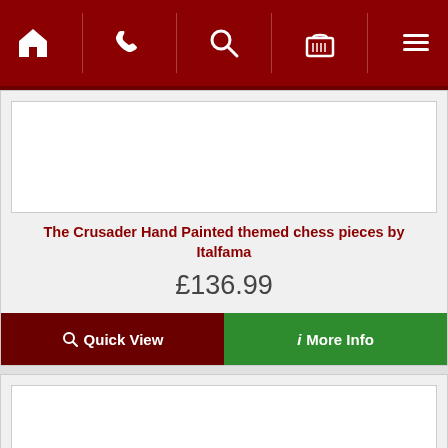[Figure (screenshot): Mobile navigation bar with dark red background containing home, phone, search, basket, and menu icons]
[Figure (photo): Product image area (white box, image not visible)]
The Crusader Hand Painted themed chess pieces by Italfama
£136.99
Quick View
More Info
[Figure (photo): Second product image area (white box, image not visible)]